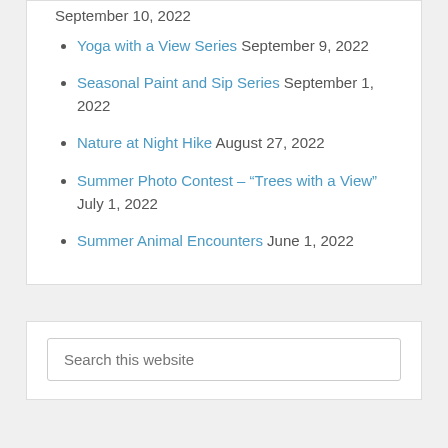September 10, 2022
Yoga with a View Series September 9, 2022
Seasonal Paint and Sip Series September 1, 2022
Nature at Night Hike August 27, 2022
Summer Photo Contest – “Trees with a View” July 1, 2022
Summer Animal Encounters June 1, 2022
Search this website